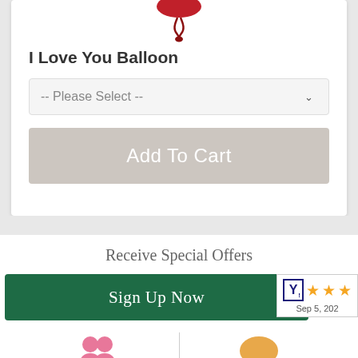[Figure (illustration): Red heart balloon tied with a ribbon, partially visible at top of product card]
I Love You Balloon
-- Please Select --
Add To Cart
Receive Special Offers
Sign Up Now
[Figure (other): Rating badge showing 3 orange stars and date Sep 5, 202x with a Y! logo]
[Figure (illustration): Pink people/group icon at bottom left]
[Figure (illustration): Orange chat bubble icon at bottom right]